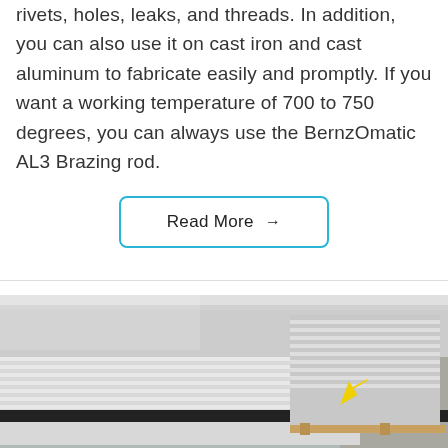rivets, holes, leaks, and threads. In addition, you can also use it on cast iron and cast aluminum to fabricate easily and promptly. If you want a working temperature of 700 to 750 degrees, you can always use the BernzOmatic AL3 Brazing rod.
Read More →
[Figure (photo): Stack of aluminum sheets/plates in an industrial setting, showing metallic silver surface with a yellow arrow/marker visible]